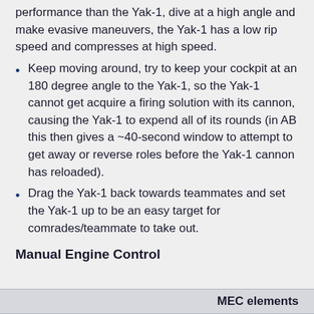performance than the Yak-1, dive at a high angle and make evasive maneuvers, the Yak-1 has a low rip speed and compresses at high speed.
Keep moving around, try to keep your cockpit at an 180 degree angle to the Yak-1, so the Yak-1 cannot get acquire a firing solution with its cannon, causing the Yak-1 to expend all of its rounds (in AB this then gives a ~40-second window to attempt to get away or reverse roles before the Yak-1 cannon has reloaded).
Drag the Yak-1 back towards teammates and set the Yak-1 up to be an easy target for comrades/teammate to take out.
Manual Engine Control
| MEC elements |
| --- |